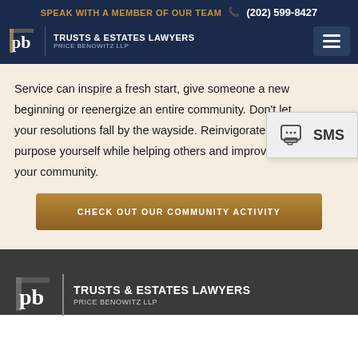SPEAK WITH A MEMBER OF OUR TEAM (202) 599-8427 | TRUSTS & ESTATES LAWYERS PRICE BENOWITZ LLP
Service can inspire a fresh start, give someone a new beginning or reenergize an entire community. Don't let your resolutions fall by the wayside. Reinvigorate your purpose yourself while helping others and improving your community.
[Figure (screenshot): SMS chat button popup overlay appearing on right side]
CHECK OUT OUR COMMUNITY ACTIVITY
[Figure (logo): Price Benowitz LLP Trusts & Estates Lawyers footer logo on dark background]